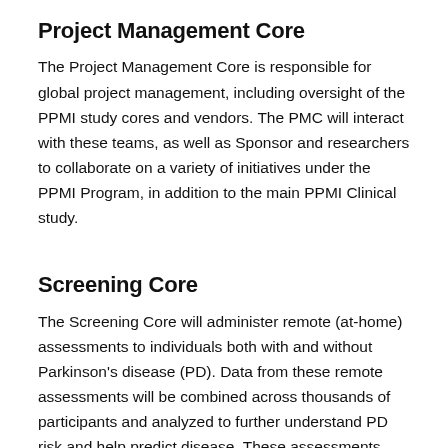Project Management Core
The Project Management Core is responsible for global project management, including oversight of the PPMI study cores and vendors. The PMC will interact with these teams, as well as Sponsor and researchers to collaborate on a variety of initiatives under the PPMI Program, in addition to the main PPMI Clinical study.
Screening Core
The Screening Core will administer remote (at-home) assessments to individuals both with and without Parkinson's disease (PD). Data from these remote assessments will be combined across thousands of participants and analyzed to further understand PD risk and help predict disease. These assessments may also lead to